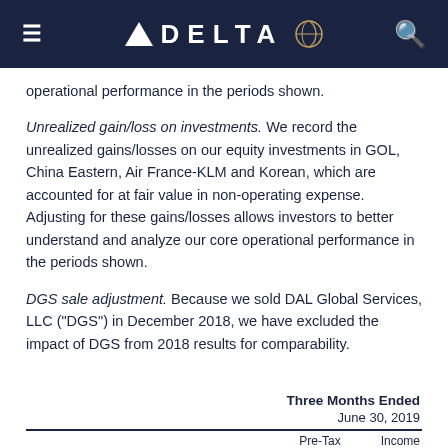DELTA
operational performance in the periods shown.
Unrealized gain/loss on investments. We record the unrealized gains/losses on our equity investments in GOL, China Eastern, Air France-KLM and Korean, which are accounted for at fair value in non-operating expense. Adjusting for these gains/losses allows investors to better understand and analyze our core operational performance in the periods shown.
DGS sale adjustment. Because we sold DAL Global Services, LLC ("DGS") in December 2018, we have excluded the impact of DGS from 2018 results for comparability.
| Three Months Ended | June 30, 2019 | Pre-Tax | Income |
| --- | --- | --- | --- |